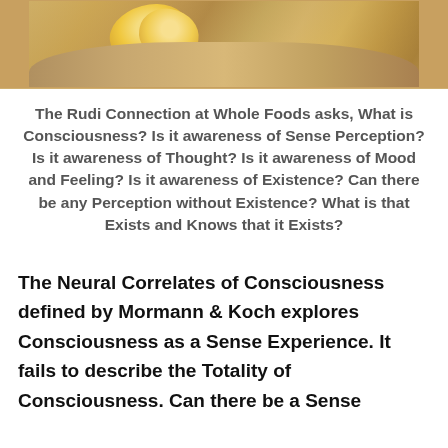[Figure (photo): Photo of hands holding a flower (yellow petals visible), close-up shot with warm tones]
The Rudi Connection at Whole Foods asks, What is Consciousness? Is it awareness of Sense Perception? Is it awareness of Thought? Is it awareness of Mood and Feeling? Is it awareness of Existence? Can there be any Perception without Existence? What is that Exists and Knows that it Exists?
The Neural Correlates of Consciousness defined by Mormann & Koch explores Consciousness as a Sense Experience. It fails to describe the Totality of Consciousness. Can there be a Sense